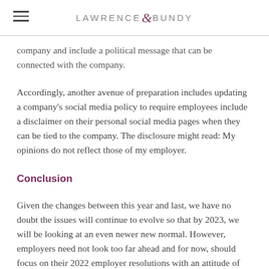LAWRENCE & BUNDY
company and include a political message that can be connected with the company.
Accordingly, another avenue of preparation includes updating a company's social media policy to require employees include a disclaimer on their personal social media pages when they can be tied to the company. The disclosure might read: My opinions do not reflect those of my employer.
Conclusion
Given the changes between this year and last, we have no doubt the issues will continue to evolve so that by 2023, we will be looking at an even newer new normal. However, employers need not look too far ahead and for now, should focus on their 2022 employer resolutions with an attitude of flexibility.